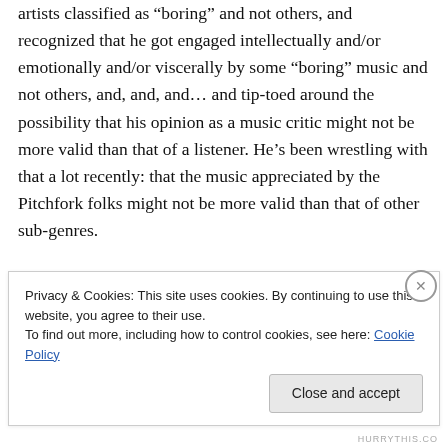artists classified as “boring” and not others, and recognized that he got engaged intellectually and/or emotionally and/or viscerally by some “boring” music and not others, and, and, and… and tip-toed around the possibility that his opinion as a music critic might not be more valid than that of a listener. He’s been wrestling with that a lot recently: that the music appreciated by the Pitchfork folks might not be more valid than that of other sub-genres.
Cookie banner: Privacy & Cookies: This site uses cookies. By continuing to use this website, you agree to their use. To find out more, including how to control cookies, see here: Cookie Policy. Close and accept.
HURRYTHIS.CO